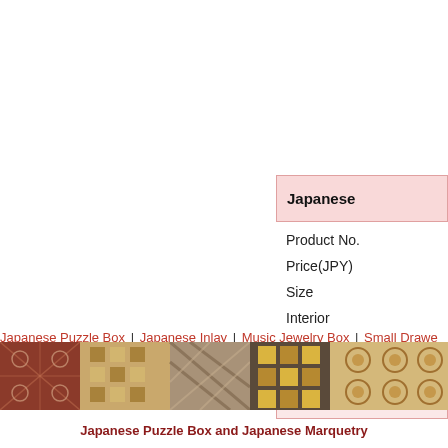| Field | Value |
| --- | --- |
| Japanese |  |
| Product No. |  |
| Price(JPY) |  |
| Size |  |
| Interior |  |
Japanese Puzzle Box | Japanese Inlay | Music Jewelry Box | Small Drawe...
[Figure (illustration): Decorative Japanese marquetry pattern banner with geometric mosaic designs in warm brown, gold, and red tones]
Japanese Puzzle Box and Japanese Marquetry